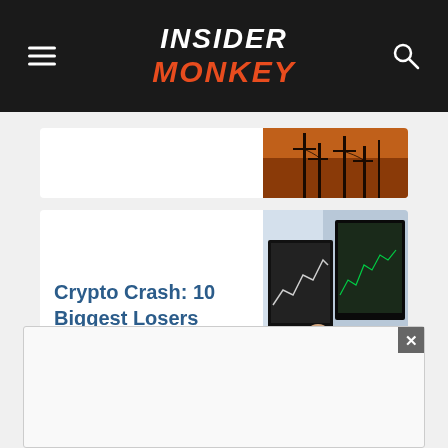INSIDER MONKEY
[Figure (photo): Power transmission towers at sunset (partially visible card)]
Crypto Crash: 10 Biggest Losers
[Figure (photo): Person looking at multiple stock chart monitors]
10 African Companies To
[Figure (photo): White curtains or fabric (partially visible)]
[Figure (screenshot): Advertisement overlay with close button]